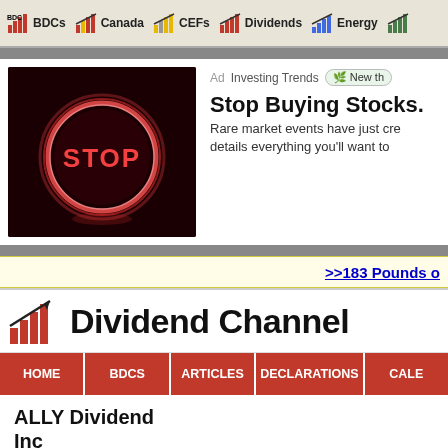BDCs | Canada | CEFs | Dividends | Energy
[Figure (screenshot): Advertisement with dark red background and neon STOP sign circle]
Ad  Investing Trends  New th...
Stop Buying Stocks.
Rare market events have just cre... details everything you'll want to...
>>183 Pounds o
Dividend Channel
HOME | BDCS | ARTICLES | DECLARATIONS | CALE...
ALLY Dividend... Inc
Ally Financial is a d...